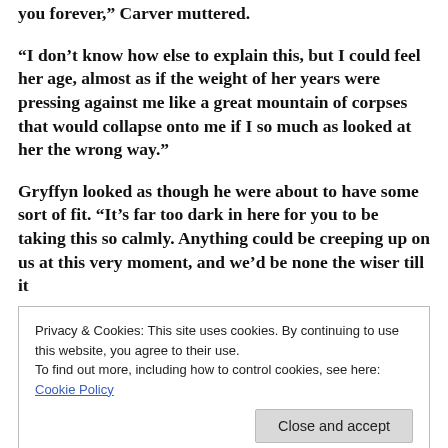you forever," Carver muttered.
“I don’t know how else to explain this, but I could feel her age, almost as if the weight of her years were pressing against me like a great mountain of corpses that would collapse onto me if I so much as looked at her the wrong way.”
Gryffyn looked as though he were about to have some sort of fit. “It’s far too dark in here for you to be taking this so calmly. Anything could be creeping up on us at this very moment, and we’d be none the wiser till it
Privacy & Cookies: This site uses cookies. By continuing to use this website, you agree to their use.
To find out more, including how to control cookies, see here: Cookie Policy
“They were all children, yes, as were the fiends who